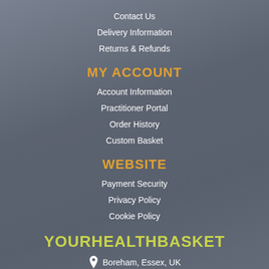Contact Us
Delivery Information
Returns & Refunds
MY ACCOUNT
Account Information
Practitioner Portal
Order History
Custom Basket
WEBSITE
Payment Security
Privacy Policy
Cookie Policy
YOURHEALTHBASKET
Boreham, Essex, UK